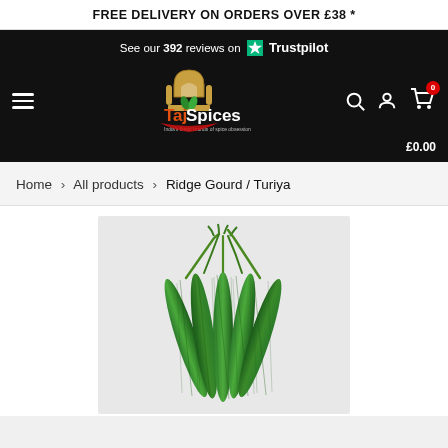FREE DELIVERY ON ORDERS OVER £38 *
[Figure (screenshot): TajSpices website navigation bar with Trustpilot review count (392 reviews), logo, hamburger menu, search icon, user icon, and cart showing £0.00]
Home > All products > Ridge Gourd / Turiya
[Figure (photo): Photo of Ridge Gourd / Turiya vegetables - several green ridge gourds bundled together on a light grey background]